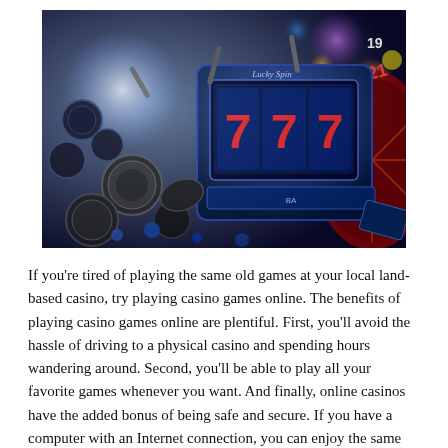[Figure (photo): Close-up photo of a casino slot machine showing triple 7s on the reels, with casino chips scattered around, roulette wheel in background, colorful bokeh lights in blue, purple, and warm tones. Text 'Lucky Spin' visible on machine.]
If you're tired of playing the same old games at your local land-based casino, try playing casino games online. The benefits of playing casino games online are plentiful. First, you'll avoid the hassle of driving to a physical casino and spending hours wandering around. Second, you'll be able to play all your favorite games whenever you want. And finally, online casinos have the added bonus of being safe and secure. If you have a computer with an Internet connection, you can enjoy the same thrills in the comfort of